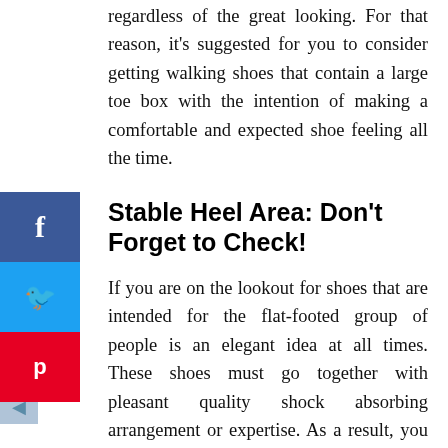regardless of the great looking. For that reason, it's suggested for you to consider getting walking shoes that contain a large toe box with the intention of making a comfortable and expected shoe feeling all the time.
Stable Heel Area: Don't Forget to Check!
If you are on the lookout for shoes that are intended for the flat-footed group of people is an elegant idea at all times. These shoes must go together with pleasant quality shock absorbing arrangement or expertise. As a result, you must rummage